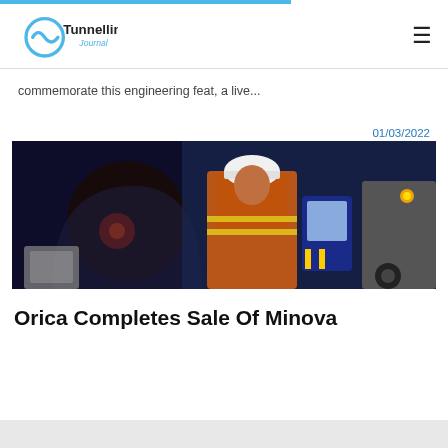[Figure (logo): Tunnelling Journal logo with circular wave icon and text 'Tunnelling Journal']
commemorate this engineering feat, a live...
01/03/2022
[Figure (photo): A woman in orange high-visibility workwear and hard hat holding equipment inside a tunnel, with a vehicle visible in the background with red lights]
Orica Completes Sale Of Minova